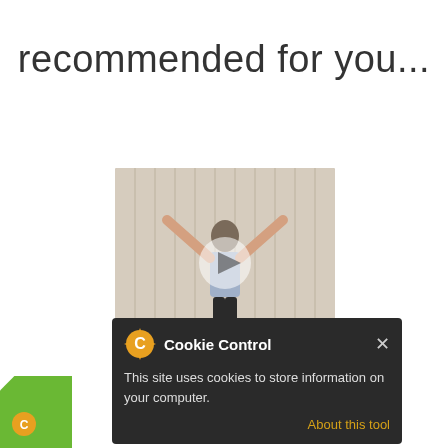recommended for you...
[Figure (photo): Video thumbnail showing a man with arms raised wide against curtain backdrop, with a play button overlay]
Designing your mind and emotions for success
Andrew Wells, 53 mins
Andrew Wells, director of Dru ... ses ur body and mind in a...
[Figure (screenshot): Cookie Control popup overlay: dark background box with orange gear icon, title 'Cookie Control', close X button, text 'This site uses cookies to store information on your computer.', and 'About this tool' link]
read more